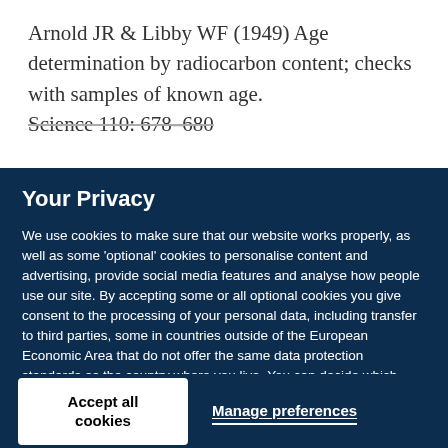Arnold JR & Libby WF (1949) Age determination by radiocarbon content; checks with samples of known age. Science 110: 678–680
Your Privacy
We use cookies to make sure that our website works properly, as well as some 'optional' cookies to personalise content and advertising, provide social media features and analyse how people use our site. By accepting some or all optional cookies you give consent to the processing of your personal data, including transfer to third parties, some in countries outside of the European Economic Area that do not offer the same data protection standards as the country where you live. You can decide which optional cookies to accept by clicking on 'Manage Settings', where you can also find more information about how your personal data is processed. Further information can be found in our privacy policy.
Accept all cookies
Manage preferences